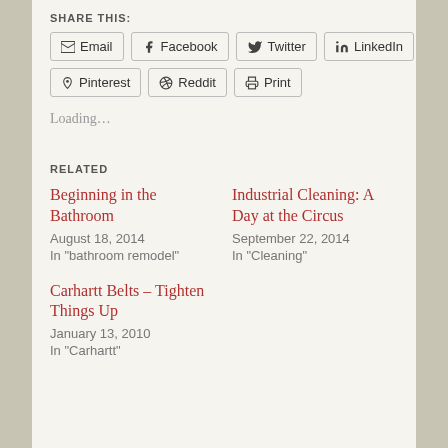SHARE THIS:
Email | Facebook | Twitter | LinkedIn | Pinterest | Reddit | Print
Loading...
RELATED
Beginning in the Bathroom
August 18, 2014
In "bathroom remodel"
Industrial Cleaning: A Day at the Circus
September 22, 2014
In "Cleaning"
Carhartt Belts – Tighten Things Up
January 13, 2010
In "Carhartt"